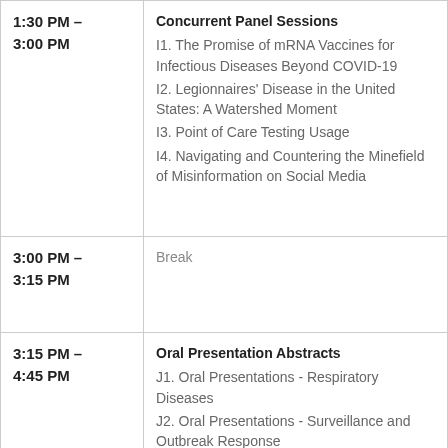| Time | Event |
| --- | --- |
| 1:30 PM – 3:00 PM | Concurrent Panel Sessions
I1. The Promise of mRNA Vaccines for Infectious Diseases Beyond COVID-19
I2. Legionnaires' Disease in the United States: A Watershed Moment
I3. Point of Care Testing Usage
I4. Navigating and Countering the Minefield of Misinformation on Social Media |
| 3:00 PM – 3:15 PM | Break |
| 3:15 PM – 4:45 PM | Oral Presentation Abstracts
J1. Oral Presentations - Respiratory Diseases
J2. Oral Presentations - Surveillance and Outbreak Response
J3. Oral Presentations - |